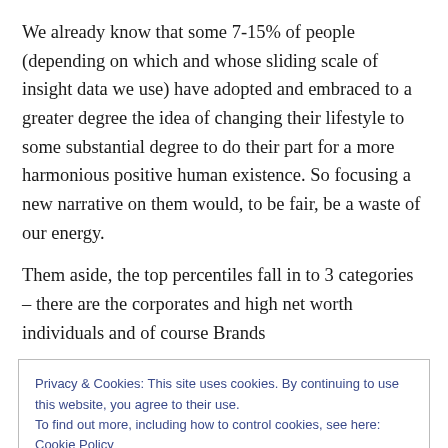We already know that some 7-15% of people (depending on which and whose sliding scale of insight data we use) have adopted and embraced to a greater degree the idea of changing their lifestyle to some substantial degree to do their part for a more harmonious positive human existence. So focusing a new narrative on them would, to be fair, be a waste of our energy.
Them aside, the top percentiles fall in to 3 categories – there are the corporates and high net worth individuals and of course Brands
Privacy & Cookies: This site uses cookies. By continuing to use this website, you agree to their use.
To find out more, including how to control cookies, see here: Cookie Policy
Close and accept
– setting some form of agenda – especially those